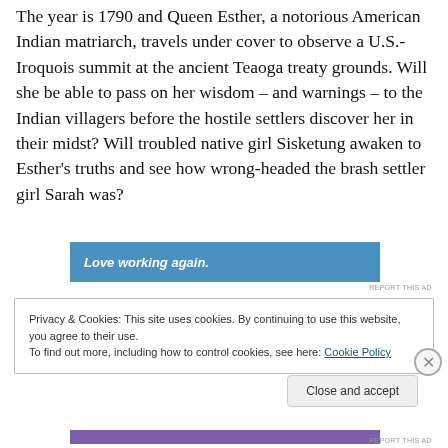The year is 1790 and Queen Esther, a notorious American Indian matriarch, travels under cover to observe a U.S.-Iroquois summit at the ancient Teaoga treaty grounds. Will she be able to pass on her wisdom – and warnings – to the Indian villagers before the hostile settlers discover her in their midst? Will troubled native girl Sisketung awaken to Esther's truths and see how wrong-headed the brash settler girl Sarah was?
[Figure (other): Blue advertisement banner with text 'Love working again.' in white bold italic font]
REPORT THIS AD
Privacy & Cookies: This site uses cookies. By continuing to use this website, you agree to their use.
To find out more, including how to control cookies, see here: Cookie Policy
Close and accept